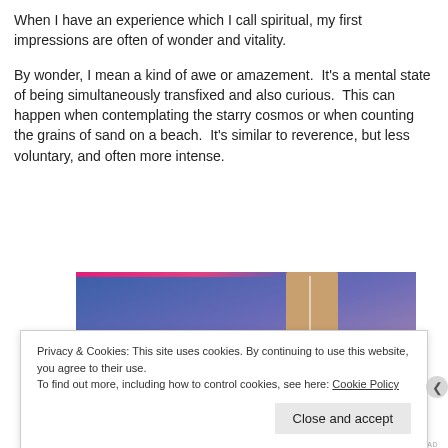When I have an experience which I call spiritual, my first impressions are often of wonder and vitality.
By wonder, I mean a kind of awe or amazement.  It’s a mental state of being simultaneously transfixed and also curious.  This can happen when contemplating the starry cosmos or when counting the grains of sand on a beach.  It’s similar to reverence, but less voluntary, and often more intense.
[Figure (illustration): Partial screenshot of an illustration showing a blue-to-purple gradient background with a tan/brown rectangular shape (possibly a book or door) in the center-right area. A circular play button is partially visible at the bottom left.]
Privacy & Cookies: This site uses cookies. By continuing to use this website, you agree to their use.
To find out more, including how to control cookies, see here: Cookie Policy
Close and accept